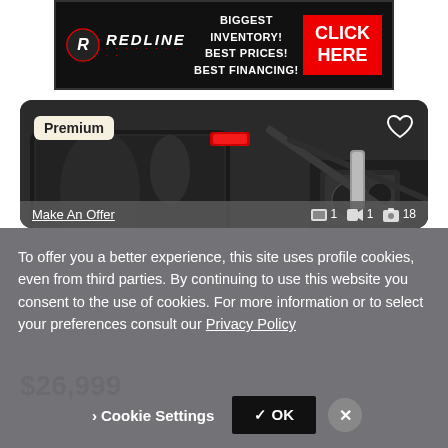[Figure (infographic): Redline dealership advertisement banner with black background. Logo shows stylized R with REDLINE text. Text reads: BIGGEST INVENTORY! BEST PRICES! BEST FINANCING! Red button says CLICK HERE.]
[Figure (photo): Close-up photo of a black Harley-Davidson motorcycle, showing saddlebag, exhaust pipes, engine and chrome details. Card has Premium badge top-left, heart icon top-right, and footer bar with Make An Offer link and media count icons showing 1 video, 1 clip, 18 photos.]
$26,999
To offer you a better experience, this site uses profile cookies, even from third parties. By continuing to use this website you consent to the use of cookies. For more information or to select your preferences consult our Privacy Policy
Cookie Settings    ✓ OK    ✕